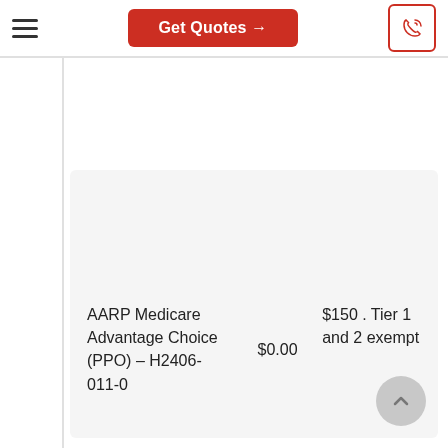Get Quotes →
| Plan | Premium | Drug Deductible |
| --- | --- | --- |
| AARP Medicare Advantage Choice (PPO) – H2406-011-0 | $0.00 | $150 . Tier 1 and 2 exempt |